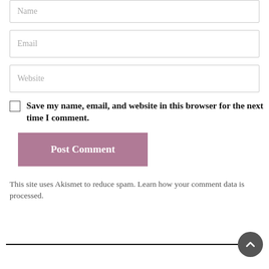Name
Email
Website
Save my name, email, and website in this browser for the next time I comment.
Post Comment
This site uses Akismet to reduce spam. Learn how your comment data is processed.